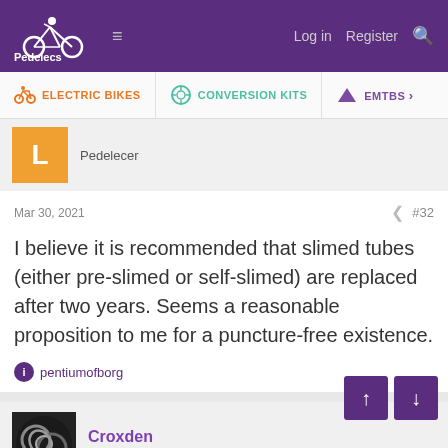Pedelecs — Log in  Register
ELECTRIC BIKES   CONVERSION KITS   EMTBS
Pedelecer
Mar 30, 2021   #32
I believe it is recommended that slimed tubes (either pre-slimed or self-slimed) are replaced after two years. Seems a reasonable proposition to me for a puncture-free existence.
pentiumofborg
Croxden
Esteemed Pedelecer
Mar 30, 2021   #33